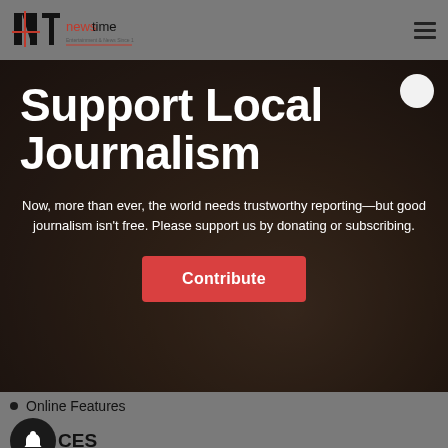NT newstime
[Figure (screenshot): Hero banner with blurred background photo of journalists writing notes. Contains large white bold text 'Support Local Journalism', a descriptive paragraph, and a red 'Contribute' button. A white circle is visible in the top-right of the banner.]
Support Local Journalism
Now, more than ever, the world needs trustworthy reporting—but good journalism isn't free. Please support us by donating or subscribing.
Online Features
CES